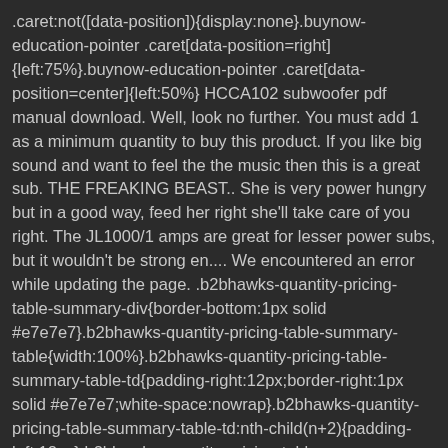.caret:not([data-position]){display:none}.buynow-education-pointer .caret[data-position=right]{left:75%}.buynow-education-pointer .caret[data-position=center]{left:50%} HCCA102 subwoofer pdf manual download. Well, look no further. You must add 1 as a minimum quantity to buy this product. If you like big sound and want to feel the the music then this is a great sub. THE FREAKING BEAST.. She is very power hungry but in a good way, feed her right she'll take care of you right. The JL1000/1 amps are great for lesser power subs, but it wouldn't be strong en.... We encountered an error while updating the page. .b2bhawks-quantity-pricing-table-summary-div{border-bottom:1px solid #e7e7e7}.b2bhawks-quantity-pricing-table-summary-table{width:100%}.b2bhawks-quantity-pricing-table-summary-table-td{padding-right:12px;border-right:1px solid #e7e7e7;white-space:nowrap}.b2bhawks-quantity-pricing-table-summary-table-td:nth-child(n+2){padding-left:12px}.b2bhawks-quantity-pricing-table-summary-table-td:last-child{border-